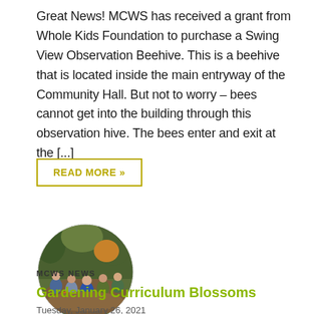Great News! MCWS has received a grant from Whole Kids Foundation to purchase a Swing View Observation Beehive. This is a beehive that is located inside the main entryway of the Community Hall. But not to worry – bees cannot get into the building through this observation hive. The bees enter and exit at the [...]
READ MORE »
[Figure (photo): Circular photo of children sitting in a circle outdoors in a garden/nature area, with trees and autumn foliage in background.]
MCWS NEWS
Gardening Curriculum Blossoms
Tuesday, January 26, 2021